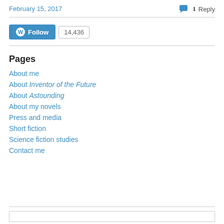February 15, 2017
1 Reply
[Figure (other): WordPress Follow button with follower count 14,436]
Pages
About me
About Inventor of the Future
About Astounding
About my novels
Press and media
Short fiction
Science fiction studies
Contact me